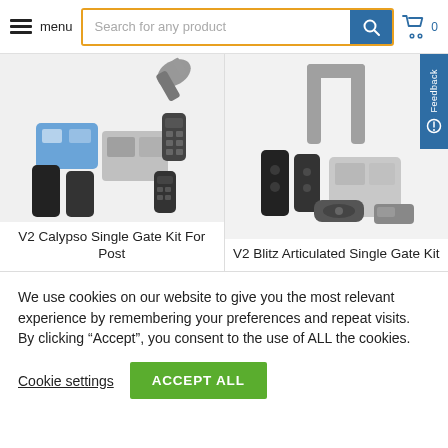menu | Search for any product | [cart] 0
[Figure (photo): V2 Calypso Single Gate Kit For Post - product components including control panel, sensors, remote controls]
V2 Calypso Single Gate Kit For Post
[Figure (photo): V2 Blitz Articulated Single Gate Kit - product components including arm mechanism, sensors, control box, remote]
V2 Blitz Articulated Single Gate Kit
We use cookies on our website to give you the most relevant experience by remembering your preferences and repeat visits. By clicking “Accept”, you consent to the use of ALL the cookies.
Cookie settings
ACCEPT ALL